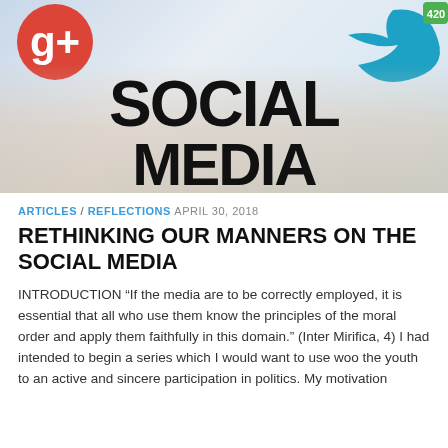[Figure (photo): Social media themed image showing a hand holding social media icons with large bold text reading 'SOCIAL MEDIA' in the foreground. Social platform icons visible including Google+ (red) and a teal/blue bird icon top right.]
ARTICLES / REFLECTIONS APRIL 30, 2018
RETHINKING OUR MANNERS ON THE SOCIAL MEDIA
INTRODUCTION “If the media are to be correctly employed, it is essential that all who use them know the principles of the moral order and apply them faithfully in this domain.” (Inter Mirifica, 4) I had intended to begin a series which I would want to use woo the youth to an active and sincere participation in politics. My motivation